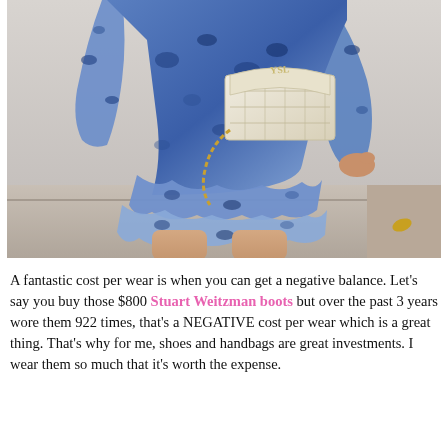[Figure (photo): A woman wearing a blue floral dress holding a cream/beige YSL quilted chain bag, photographed from waist down showing her legs and the dress hem with ruffled tiers.]
A fantastic cost per wear is when you can get a negative balance. Let's say you buy those $800 Stuart Weitzman boots but over the past 3 years wore them 922 times, that's a NEGATIVE cost per wear which is a great thing. That's why for me, shoes and handbags are great investments. I wear them so much that it's worth the expense.